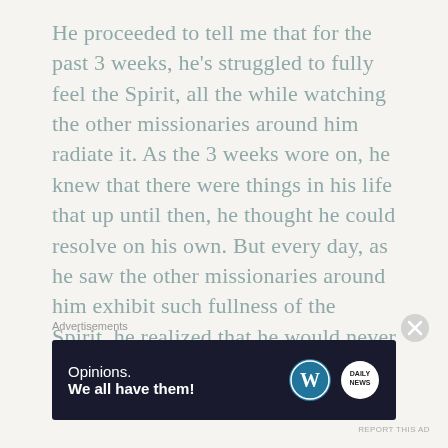He proceeded to tell me that for the past 3 weeks, he's struggled to fully feel the Spirit, all the while watching the other missionaries around him radiate it. As the 3 weeks wore on, he knew that there were things in his life that up until then, he thought he could resolve on his own. But every day, as he saw the other missionaries around him exhibit such fullness of the Spirit, he realized that he would never be able to experience that same strength and depth of feeling until he
Advertisements
[Figure (other): Advertisement banner for WordPress/Daily News with text 'Opinions. We all have them!' on a dark background with WordPress and Daily News logos]